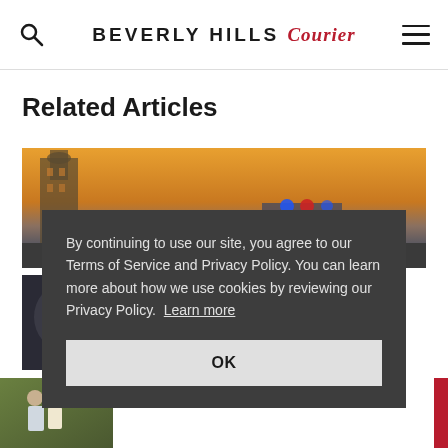BEVERLY HILLS Courier
Related Articles
[Figure (photo): Aerial/street photo of Beverly Hills at sunset with emergency vehicle lights visible, and a circular thumbnail below showing a person near a car]
By continuing to use our site, you agree to our Terms of Service and Privacy Policy. You can learn more about how we use cookies by reviewing our Privacy Policy. Learn more
OK
The Prince of Beverly Hills